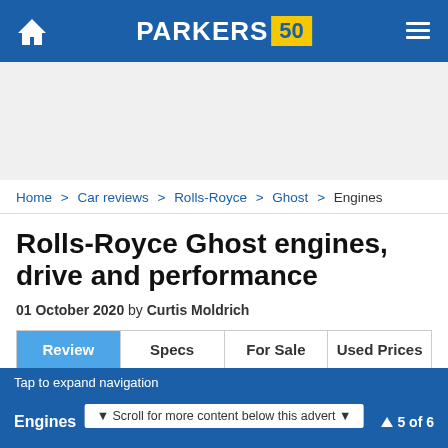PARKERS 50
[Figure (other): Advertisement placeholder area]
Home > Car reviews > Rolls-Royce > Ghost > Engines
Rolls-Royce Ghost engines, drive and performance
01 October 2020 by Curtis Moldrich
Review | Specs | For Sale | Used Prices
Parkers overall rating: 4.3
Engines  ▼ Scroll for more content below this advert ▼  5 of 6